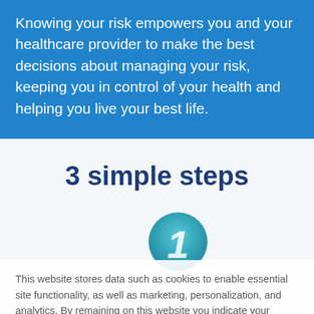Knowing your risk empowers you and your healthcare provider to make the best decisions about managing your risk, keeping you in control of your health and helping you live your best life.
3 simple steps
[Figure (illustration): Step 1 circle icon — a large teal/blue circle with the number 1 in white italic font]
This website stores data such as cookies to enable essential site functionality, as well as marketing, personalization, and analytics. By remaining on this website you indicate your consent. Privacy Policy